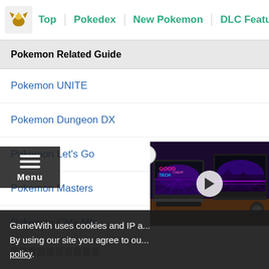Top | Pokedex | New Pokemon | DLC Features | Best R
Pokemon Related Guide
Pokemon UNITE
Pokemon Dungeon DX
Pokemon Let's Go
Pokemon Masters
Pokemon Cafe Mix
[Figure (screenshot): Video player overlay showing a laptop with neon/retro desktop background, GoodTechCheap logo visible, with play button in center]
GameWith uses cookies and IP a... By using our site you agree to ou... policy.